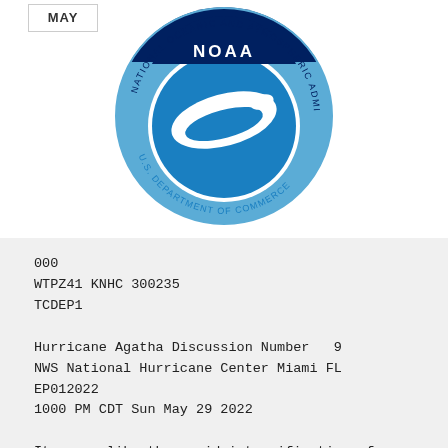MAY
[Figure (logo): NOAA logo — circular emblem with dark blue top arc reading 'NATIONAL OCEANIC AND ATMOSPHERIC ADMINISTRATION', light blue lower arc reading 'U.S. DEPARTMENT OF COMMERCE', white stylized bird/wave in center, 'NOAA' text in white on dark blue band.]
000
WTPZ41 KNHC 300235
TCDEP1

Hurricane Agatha Discussion Number   9
NWS National Hurricane Center Miami FL
EP012022
1000 PM CDT Sun May 29 2022

It seems like the rapid intensification of